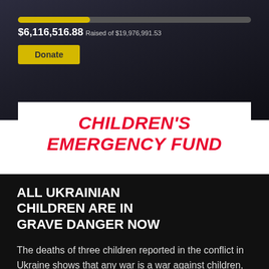[Figure (screenshot): Dark fundraising page header with yellow progress bar showing $6,116,516.88 raised of $19,976,991.53, and a yellow Donate button]
$6,116,516.88 Raised of $19,976,991.53
CHILDREN'S EMERGENCY FUND
ALL UKRAINIAN CHILDREN ARE IN GRAVE DANGER NOW
The deaths of three children reported in the conflict in Ukraine shows that any war is a war against children, with fears that more innocent young lives will be lost if the fighting does not stop immediately.